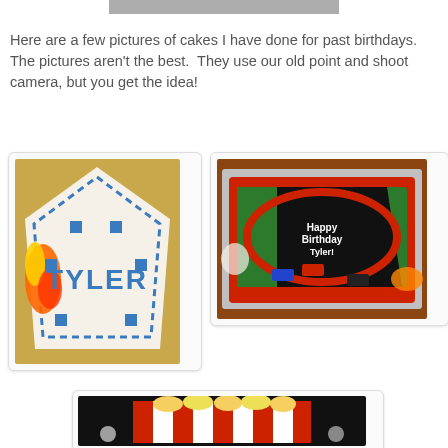[Figure (photo): Partial image visible at top of page, cropped]
Here are a few pictures of cakes I have done for past birthdays.  The pictures aren't the best.  They use our old point and shoot camera, but you get the idea!
[Figure (photo): Birthday cake with blue letters spelling TYLER, decorated with blue dots and orange/yellow flames on a white frosted cake]
[Figure (photo): Birthday cake decorated with toy cars on a green and red frosted surface with Happy Birthday text, on a foil-wrapped board]
[Figure (photo): Popcorn-themed birthday cake in a red and white striped box shape, partially visible at bottom]